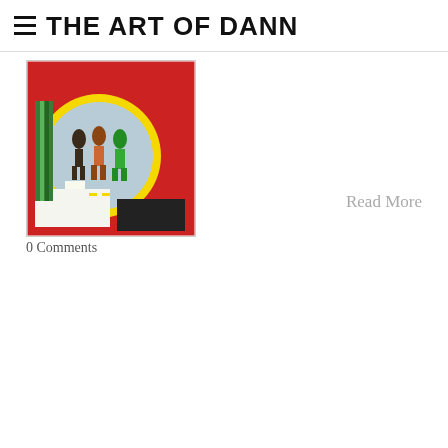THE ART OF DANN
[Figure (illustration): Colorful artwork thumbnail showing figures on a red background with a yellow circle, white and black rectangular shapes]
Read More
0 Comments